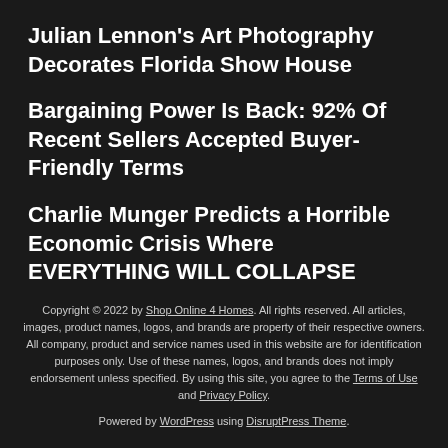Julian Lennon's Art Photography Decorates Florida Show House
Bargaining Power Is Back: 92% Of Recent Sellers Accepted Buyer-Friendly Terms
Charlie Munger Predicts a Horrible Economic Crisis Where EVERYTHING WILL COLLAPSE
Copyright © 2022 by Shop Online 4 Homes. All rights reserved. All articles, images, product names, logos, and brands are property of their respective owners. All company, product and service names used in this website are for identification purposes only. Use of these names, logos, and brands does not imply endorsement unless specified. By using this site, you agree to the Terms of Use and Privacy Policy.
Powered by WordPress using DisruptPress Theme.